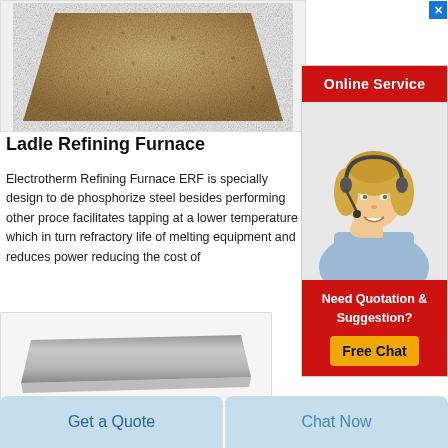[Figure (photo): Refractory brick or cork material shaped as a trapezoid, tan/brown speckled texture, shown from above]
Ladle Refining Furnace
Electrotherm Refining Furnace ERF is specially designed to de phosphorize steel besides performing other processes. It facilitates tapping at a lower temperature which in turn increases refractory life of melting equipment and reduces power consumption reducing the cost of
[Figure (photo): Flat rectangular slab or refractory plate, gray in color, shown at an angle]
[Figure (infographic): Online Service advertisement banner with red header, female customer service representative with headset, and Free Chat button]
Get a Quote
Chat Now